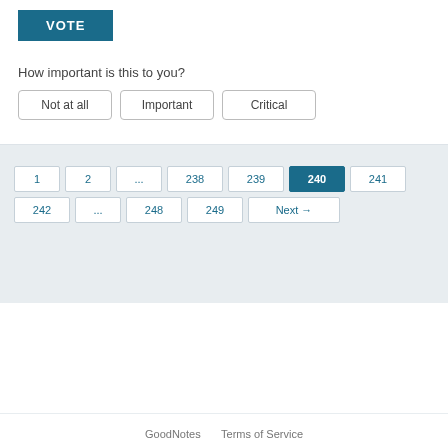VOTE
How important is this to you?
Not at all
Important
Critical
[Figure (other): Pagination navigation showing pages 1, 2, ..., 238, 239, 240 (active), 241, 242, ..., 248, 249, Next →]
GoodNotes   Terms of Service